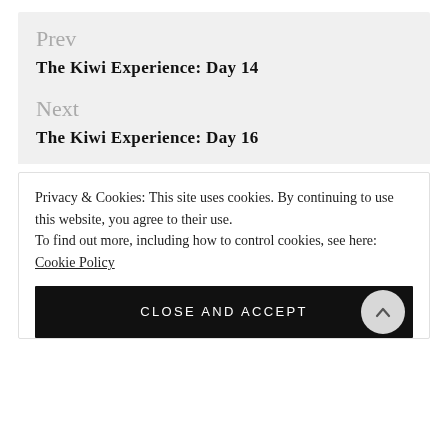Prev
The Kiwi Experience: Day 14
Next
The Kiwi Experience: Day 16
Privacy & Cookies: This site uses cookies. By continuing to use this website, you agree to their use.
To find out more, including how to control cookies, see here: Cookie Policy
CLOSE AND ACCEPT